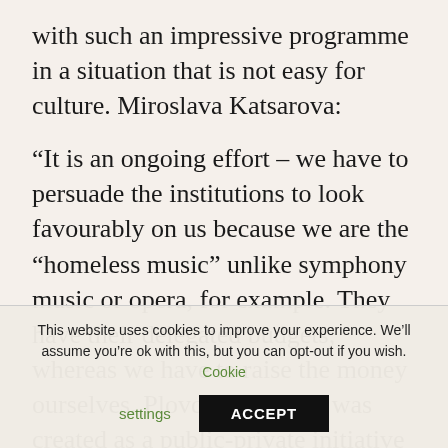with such an impressive programme in a situation that is not easy for culture. Miroslava Katsarova:
“It is an ongoing effort – we have to persuade the institutions to look favourably on us because we are the “homeless music” unlike symphony music or opera, for example. They have their delegated budgets, whereas we have to raise the money ourselves. Plovdiv Jazz Fest was created as a public-private initiative but when it is art we are talking
This website uses cookies to improve your experience. We’ll assume you’re ok with this, but you can opt-out if you wish. Cookie settings ACCEPT